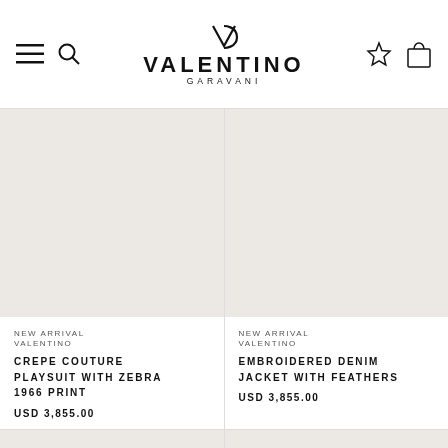Valentino Garavani — navigation header with logo, menu, search, wishlist, cart icons
[Figure (photo): Product image placeholder — light beige/grey background for Crepe Couture Playsuit with Zebra 1966 Print]
NEW ARRIVAL
VALENTINO
CREPE COUTURE PLAYSUIT WITH ZEBRA 1966 PRINT
USD 3,855.00
[Figure (photo): Product image placeholder — light beige/grey background for Embroidered Denim Jacket with Feathers]
NEW ARRIVAL
VALENTINO
EMBROIDERED DENIM JACKET WITH FEATHERS
USD 3,855.00